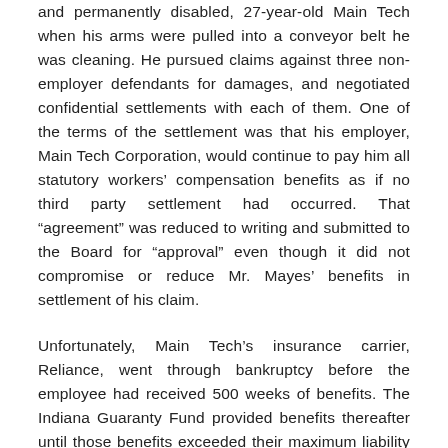and permanently disabled, 27-year-old Main Tech when his arms were pulled into a conveyor belt he was cleaning. He pursued claims against three non-employer defendants for damages, and negotiated confidential settlements with each of them. One of the terms of the settlement was that his employer, Main Tech Corporation, would continue to pay him all statutory workers' compensation benefits as if no third party settlement had occurred. That “agreement” was reduced to writing and submitted to the Board for “approval” even though it did not compromise or reduce Mr. Mayes’ benefits in settlement of his claim.
Unfortunately, Main Tech’s insurance carrier, Reliance, went through bankruptcy before the employee had received 500 weeks of benefits. The Indiana Guaranty Fund provided benefits thereafter until those benefits exceeded their maximum liability of $100,000. Main Tech then stepped up and continued lost wage and medical benefits until it also went into bankruptcy in October 2004 after Mr. Mayes had received a total of 264 weeks